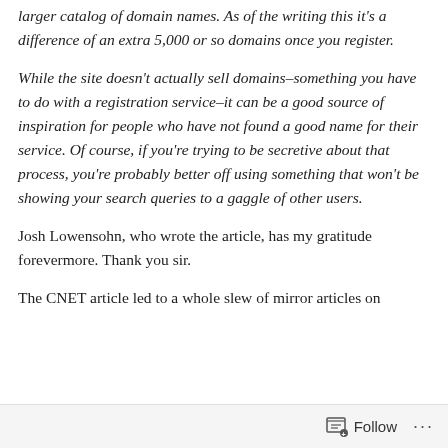larger catalog of domain names. As of the writing this it's a difference of an extra 5,000 or so domains once you register.
While the site doesn't actually sell domains–something you have to do with a registration service–it can be a good source of inspiration for people who have not found a good name for their service. Of course, if you're trying to be secretive about that process, you're probably better off using something that won't be showing your search queries to a gaggle of other users.
Josh Lowensohn, who wrote the article, has my gratitude forevermore. Thank you sir.
The CNET article led to a whole slew of mirror articles on
Follow ···